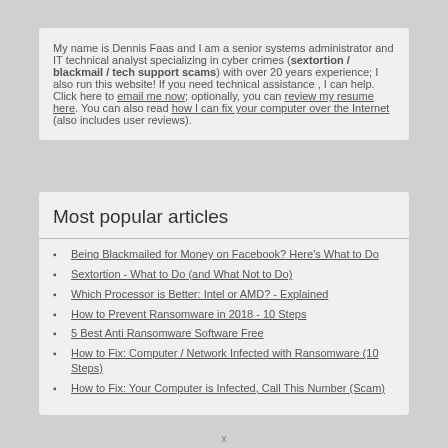My name is Dennis Faas and I am a senior systems administrator and IT technical analyst specializing in cyber crimes (sextortion / blackmail / tech support scams) with over 20 years experience; I also run this website! If you need technical assistance , I can help. Click here to email me now; optionally, you can review my resume here. You can also read how I can fix your computer over the Internet (also includes user reviews).
Most popular articles
Being Blackmailed for Money on Facebook? Here's What to Do
Sextortion - What to Do (and What Not to Do)
Which Processor is Better: Intel or AMD? - Explained
How to Prevent Ransomware in 2018 - 10 Steps
5 Best Anti Ransomware Software Free
How to Fix: Computer / Network Infected with Ransomware (10 Steps)
How to Fix: Your Computer is Infected, Call This Number (Scam)
x